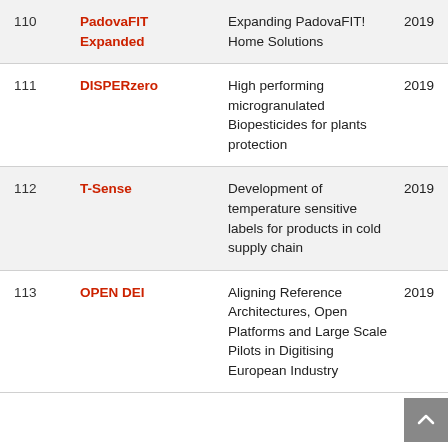| # | Name | Description | Year |
| --- | --- | --- | --- |
| 110 | PadovaFIT Expanded | Expanding PadovaFIT! Home Solutions | 2019 |
| 111 | DISPERzero | High performing microgranulated Biopesticides for plants protection | 2019 |
| 112 | T-Sense | Development of temperature sensitive labels for products in cold supply chain | 2019 |
| 113 | OPEN DEI | Aligning Reference Architectures, Open Platforms and Large Scale Pilots in Digitising European Industry | 2019 |